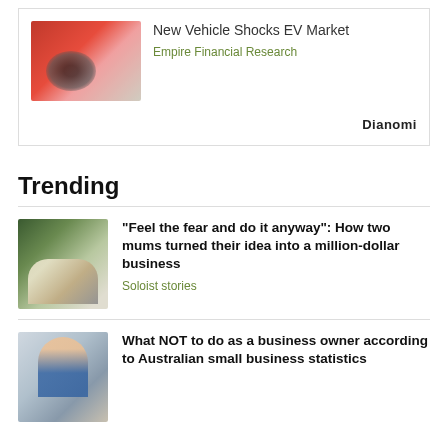[Figure (photo): Advertisement box with EV charging image, titled 'New Vehicle Shocks EV Market' from Empire Financial Research, with Dianomi branding]
Trending
[Figure (photo): Two women posing for photo, related to business story about mums turning idea into million-dollar business]
“Feel the fear and do it anyway”: How two mums turned their idea into a million-dollar business
Soloist stories
[Figure (photo): Man stressed at desk with glasses, related to story about what not to do as a business owner]
What NOT to do as a business owner according to Australian small business statistics